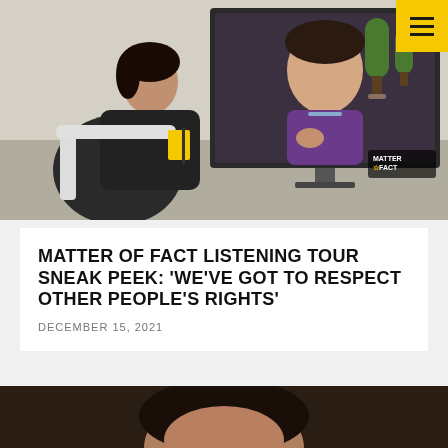[Figure (photo): Interview scene: a woman interviewer sits in a modern studio facing a large TV screen showing an elderly woman in a purple cardigan speaking. A 'Matter of Fact' logo appears in the bottom right corner of the TV screen.]
MATTER OF FACT LISTENING TOUR SNEAK PEEK: 'WE'VE GOT TO RESPECT OTHER PEOPLE'S RIGHTS'
DECEMBER 15, 2021
[Figure (photo): Close-up of a woman with dark hair against a dark background.]